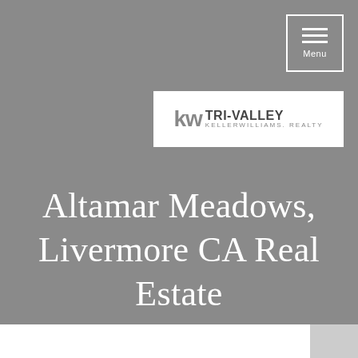[Figure (logo): Menu button with three horizontal lines and 'Menu' text, white border on grey background, top right corner]
[Figure (logo): KW Tri-Valley Keller Williams Realty logo in white box, top right area]
Altamar Meadows, Livermore CA Real Estate